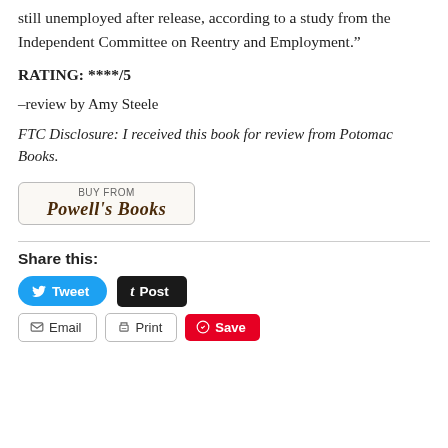still unemployed after release, according to a study from the Independent Committee on Reentry and Employment.”
RATING: ****/5
–review by Amy Steele
FTC Disclosure: I received this book for review from Potomac Books.
[Figure (logo): Buy From Powell's Books button/logo with rounded rectangle border]
Share this:
Tweet | Post | Email | Print | Save